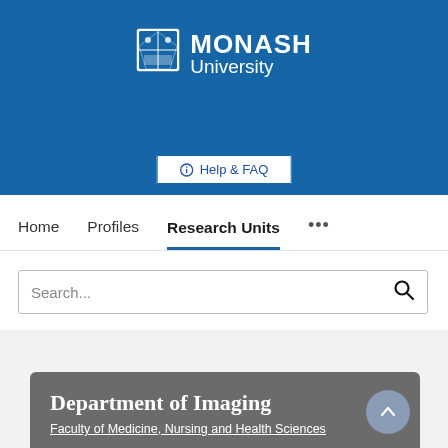[Figure (logo): Monash University logo with shield crest and text 'MONASH University' on blue background]
Help & FAQ
Home   Profiles   Research Units   ...
Search...
Department of Imaging
Faculty of Medicine, Nursing and Health Sciences